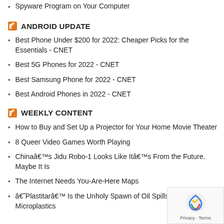Spyware Program on Your Computer
ANDROID UPDATE
Best Phone Under $200 for 2022: Cheaper Picks for the Essentials - CNET
Best 5G Phones for 2022 - CNET
Best Samsung Phone for 2022 - CNET
Best Android Phones in 2022 - CNET
WEEKLY CONTENT
How to Buy and Set Up a Projector for Your Home Movie Theater
8 Queer Video Games Worth Playing
Chinaâ€™s Jidu Robo-1 Looks Like Itâ€™s From the Future. Maybe It Is
The Internet Needs You-Are-Here Maps
â€˜Plastitarâ€™ Is the Unholy Spawn of Oil Spills and Microplastics